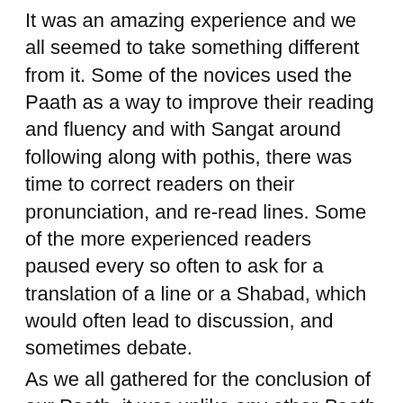It was an amazing experience and we all seemed to take something different from it. Some of the novices used the Paath as a way to improve their reading and fluency and with Sangat around following along with pothis, there was time to correct readers on their pronunciation, and re-read lines. Some of the more experienced readers paused every so often to ask for a translation of a line or a Shabad, which would often lead to discussion, and sometimes debate.
As we all gathered for the conclusion of our Paath, it was unlike any other Paath da Bhog I have attended. It took on a different meaning for me. The happiness I felt had less to do with finishing on time…but more so because I had learned something.
At the end of the day, I don't feel Akhand Paaths should be abolished or anyone should be discouraged from reading